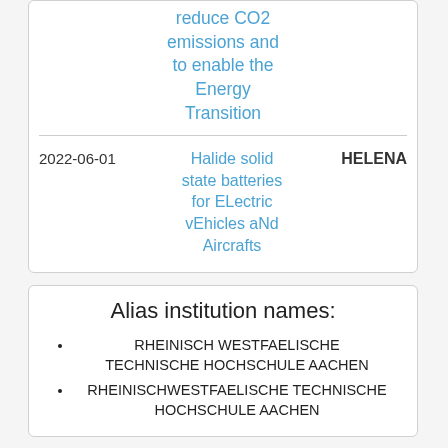reduce CO2 emissions and to enable the Energy Transition
| Date | Project Title | Acronym |
| --- | --- | --- |
| 2022-06-01 | Halide solid state batteries for ELectric vEhicles aNd Aircrafts | HELENA |
Alias institution names:
RHEINISCH WESTFAELISCHE TECHNISCHE HOCHSCHULE AACHEN
RHEINISCHWESTFAELISCHE TECHNISCHE HOCHSCHULE AACHEN